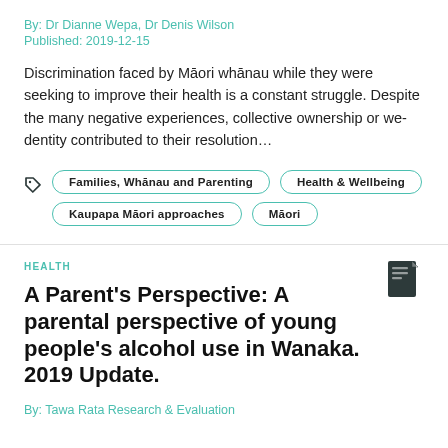By: Dr Dianne Wepa, Dr Denis Wilson
Published: 2019-12-15
Discrimination faced by Māori whānau while they were seeking to improve their health is a constant struggle. Despite the many negative experiences, collective ownership or we-dentity contributed to their resolution…
Families, Whānau and Parenting | Health & Wellbeing | Kaupapa Māori approaches | Māori
HEALTH
A Parent's Perspective: A parental perspective of young people's alcohol use in Wanaka. 2019 Update.
By: Tawa Rata Research & Evaluation